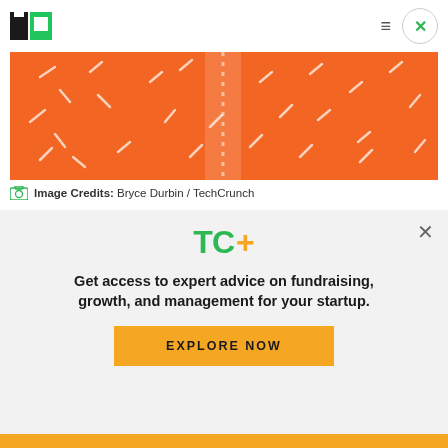TechCrunch
[Figure (illustration): Orange background hero image with white dash/tick marks pattern and a vertical lighter stripe in the center]
Image Credits: Bryce Durbin / TechCrunch
In 2018, Y Combinator released its first mega list of the top companies valued at $150 million or more
[Figure (infographic): TC+ subscription modal overlay on light gray background with TC+ logo, tagline and Explore Now button]